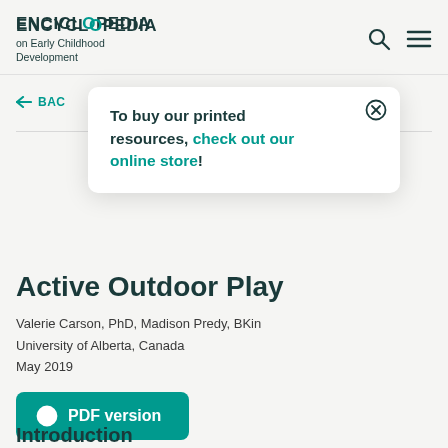ENCYCLOPEDIA on Early Childhood Development
To buy our printed resources, check out our online store!
← BAC
Active Outdoor Play
Valerie Carson, PhD, Madison Predy, BKin
University of Alberta, Canada
May 2019
PDF version
Introduction